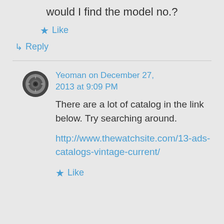would I find the model no.?
★ Like
↳ Reply
Yeoman on December 27, 2013 at 9:09 PM
There are a lot of catalog in the link below. Try searching around.
http://www.thewatchsite.com/13-ads-catalogs-vintage-current/
★ Like